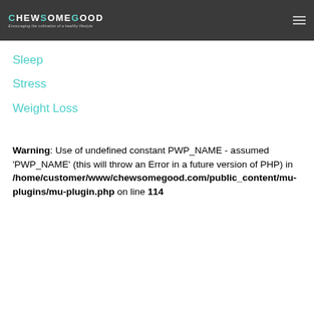CHEWSOMEGOOD — Encouraging the cultivation of a healthy lifestyle
Sleep
Stress
Weight Loss
Warning: Use of undefined constant PWP_NAME - assumed 'PWP_NAME' (this will throw an Error in a future version of PHP) in /home/customer/www/chewsomegood.com/public_content/mu-plugins/mu-plugin.php on line 114